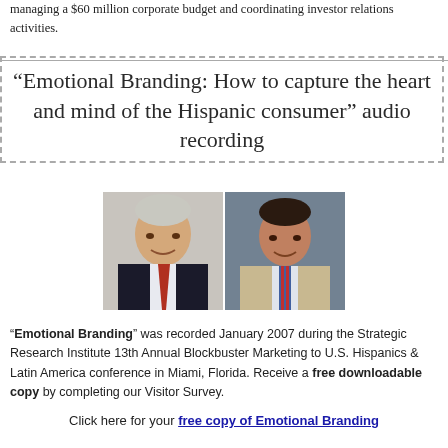managing a $60 million corporate budget and coordinating investor relations activities.
“Emotional Branding: How to capture the heart and mind of the Hispanic consumer” audio recording
[Figure (photo): Two headshot photos of men in suits side by side.]
“Emotional Branding” was recorded January 2007 during the Strategic Research Institute 13th Annual Blockbuster Marketing to U.S. Hispanics & Latin America conference in Miami, Florida. Receive a free downloadable copy by completing our Visitor Survey.
Click here for your free copy of Emotional Branding